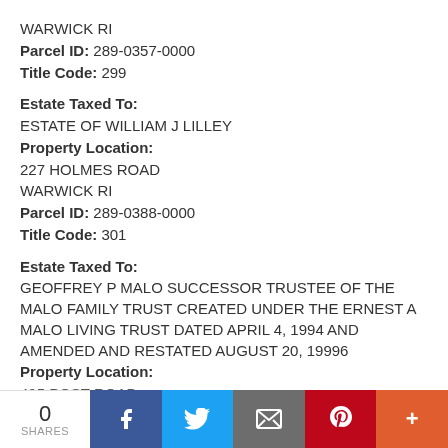WARWICK RI
Parcel ID: 289-0357-0000
Title Code: 299
Estate Taxed To:
ESTATE OF WILLIAM J LILLEY
Property Location:
227 HOLMES ROAD
WARWICK RI
Parcel ID: 289-0388-0000
Title Code: 301
Estate Taxed To:
GEOFFREY P MALO SUCCESSOR TRUSTEE OF THE MALO FAMILY TRUST CREATED UNDER THE ERNEST A MALO LIVING TRUST DATED APRIL 4, 1994 AND AMENDED AND RESTATED AUGUST 20, 19996
Property Location:
495 POST ROAD